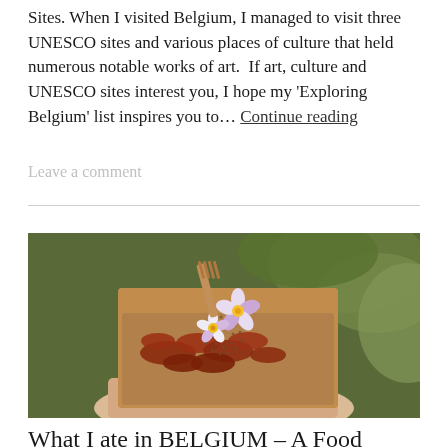Sites. When I visited Belgium, I managed to visit three UNESCO sites and various places of culture that held numerous notable works of art.  If art, culture and UNESCO sites interest you, I hope my 'Exploring Belgium' list inspires you to… Continue reading
Leave a comment
[Figure (photo): A hand holding a takeaway box containing a Belgian waffle or similar food item coated in seeds/spices with two small white and purple flowers on top, and a wooden fork. Green foliage in the background.]
What I ate in BELGIUM – A Food Journal